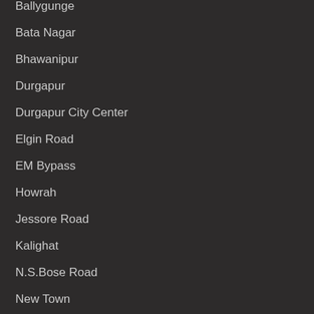Ballygunge
Bata Nagar
Bhawanipur
Durgapur
Durgapur City Center
Elgin Road
EM Bypass
Howrah
Jessore Road
Kalighat
N.S.Bose Road
New Town
Prince Anwar Shah Road
Rash Behari Avenue Connector
Salt Lake City